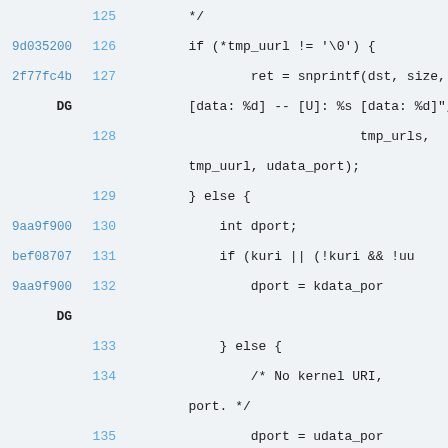125    */
9d035200 126    if (*tmp_uurl != '\0') {
2f77fc4b 127        ret = snprintf(dst, size,
DG          [data: %d] -- [U]: %s [data: %d]",
128                              tmp_urls,
tmp_uurl, udata_port);
129        } else {
9aa9f900 130            int dport;
bef08707 131            if (kuri || (!kuri && !uu
9aa9f900 132                dport = kdata_por
DG
133            } else {
134                /* No kernel URI,
port. */
135                dport = udata_por
136            }
137                ret = snprintf(dst, size,
%d]", tmp_urls, dport);